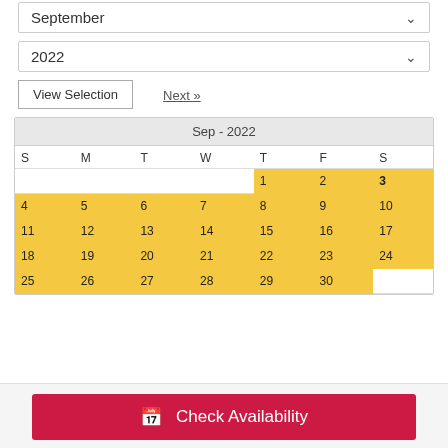September
2022
View Selection
Next »
| S | M | T | W | T | F | S |
| --- | --- | --- | --- | --- | --- | --- |
|  |  |  |  | 1 | 2 | 3 |
| 4 | 5 | 6 | 7 | 8 | 9 | 10 |
| 11 | 12 | 13 | 14 | 15 | 16 | 17 |
| 18 | 19 | 20 | 21 | 22 | 23 | 24 |
| 25 | 26 | 27 | 28 | 29 | 30 |  |
Check Availability